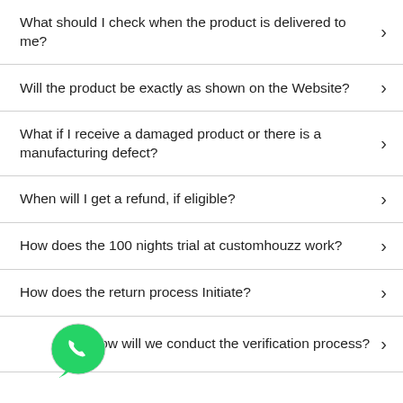What should I check when the product is delivered to me?
Will the product be exactly as shown on the Website?
What if I receive a damaged product or there is a manufacturing defect?
When will I get a refund, if eligible?
How does the 100 nights trial at customhouzz work?
How does the return process Initiate?
[Figure (logo): WhatsApp logo icon - green circle with white phone handset]
How will we conduct the verification process?